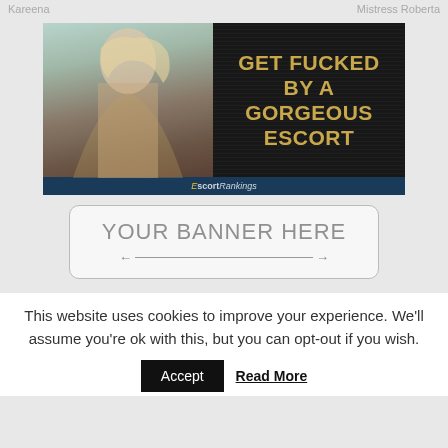Kareena    Mistress Roberta
[Figure (photo): Advertisement banner showing a blonde woman on left with dark background on right containing bold gold text: GET FUCKED BY A GORGEOUS ESCORT, with EscortRankings branding at bottom]
[Figure (other): Placeholder banner box with text YOUR BANNER HERE and a double-headed arrow]
This website uses cookies to improve your experience. We'll assume you're ok with this, but you can opt-out if you wish.
Accept   Read More